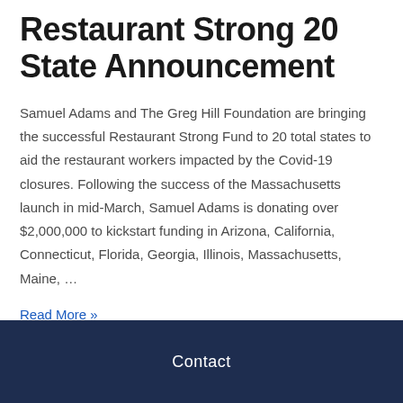Restaurant Strong 20 State Announcement
Samuel Adams and The Greg Hill Foundation are bringing the successful Restaurant Strong Fund to 20 total states to aid the restaurant workers impacted by the Covid-19 closures. Following the success of the Massachusetts launch in mid-March, Samuel Adams is donating over $2,000,000 to kickstart funding in Arizona, California, Connecticut, Florida, Georgia, Illinois, Massachusetts, Maine, ...
Read More »
Contact